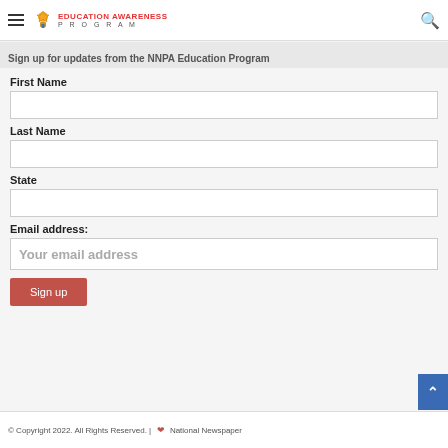EDUCATION AWARENESS PROGRAM
Sign up for updates from the NNPA Education Program
First Name
Last Name
State
Email address:
Your email address
Sign up
© Copyright 2022. All Rights Reserved. | ❤ National Newspaper